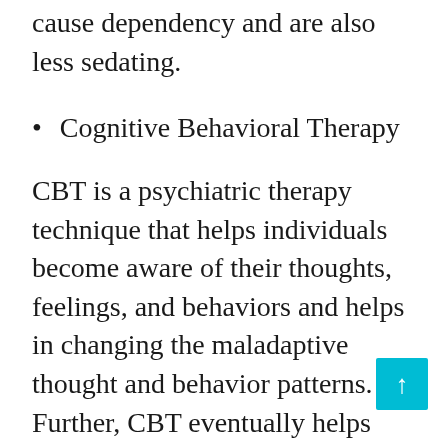cause dependency and are also less sedating.
Cognitive Behavioral Therapy
CBT is a psychiatric therapy technique that helps individuals become aware of their thoughts, feelings, and behaviors and helps in changing the maladaptive thought and behavior patterns. Further, CBT eventually helps individuals to stay and reduce their vulnerability to situations that trigger anxiety.